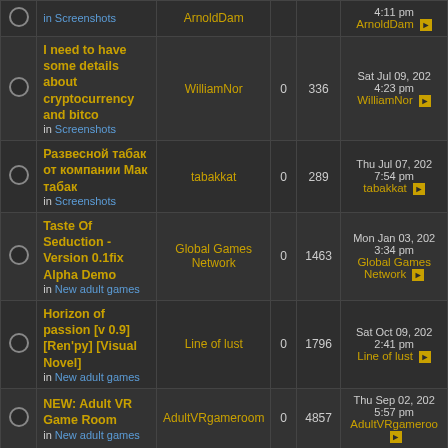|  | Topic | Author | Replies | Views | Last post |
| --- | --- | --- | --- | --- | --- |
|  | I need to have some details about cryptocurrency and bitco
in Screenshots | WilliamNor | 0 | 336 | Sat Jul 09, 202
4:23 pm
WilliamNor |
|  | Развесной табак от компании Мак табак
in Screenshots | tabakkat | 0 | 289 | Thu Jul 07, 202
7:54 pm
tabakkat |
|  | Taste Of Seduction - Version 0.1fix Alpha Demo
in New adult games | Global Games Network | 0 | 1463 | Mon Jan 03, 202
3:34 pm
Global Games Network |
|  | Horizon of passion [v 0.9] [Ren'py] [Visual Novel]
in New adult games | Line of lust | 0 | 1796 | Sat Oct 09, 202
2:41 pm
Line of lust |
|  | NEW: Adult VR Game Room
in New adult games | AdultVRgameroom | 0 | 4857 | Thu Sep 02, 202
5:57 pm
AdultVRgameroo |